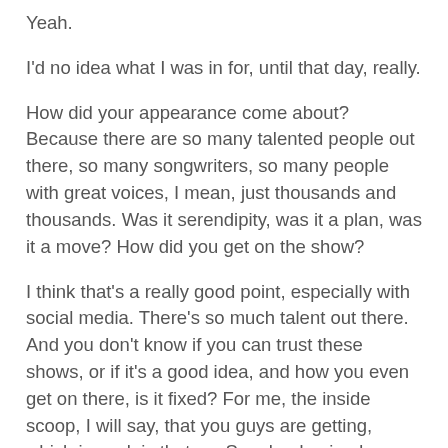Yeah.
I'd no idea what I was in for, until that day, really.
How did your appearance come about? Because there are so many talented people out there, so many songwriters, so many people with great voices, I mean, just thousands and thousands. Was it serendipity, was it a plan, was it a move? How did you get on the show?
I think that's a really good point, especially with social media. There's so much talent out there. And you don't know if you can trust these shows, or if it's a good idea, and how you even get on there, is it fixed? For me, the inside scoop, I will say, that you guys are getting, which is cool, is that my Songland episode was actually the pilot episode.
Oh, really?
Which is why I thought it was Maroon 5. If we filmed this pilot for this show, we had no idea if it was going to take off. And then it